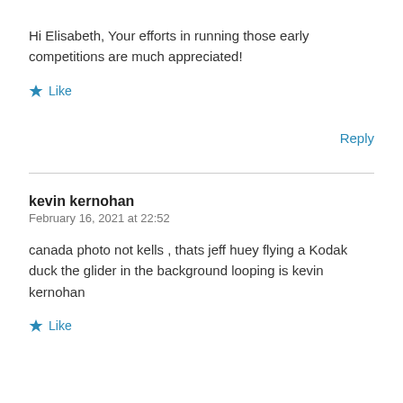Hi Elisabeth, Your efforts in running those early competitions are much appreciated!
★ Like
Reply
kevin kernohan
February 16, 2021 at 22:52
canada photo not kells , thats jeff huey flying a Kodak duck the glider in the background looping is kevin kernohan
★ Like